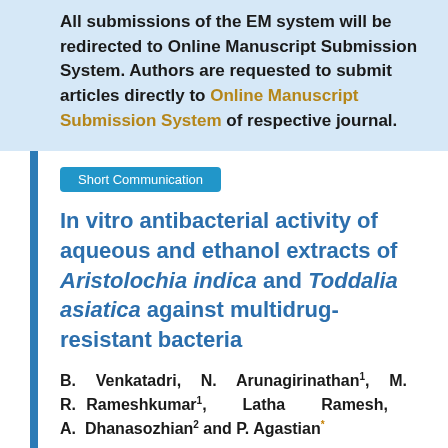All submissions of the EM system will be redirected to Online Manuscript Submission System. Authors are requested to submit articles directly to Online Manuscript Submission System of respective journal.
Short Communication
In vitro antibacterial activity of aqueous and ethanol extracts of Aristolochia indica and Toddalia asiatica against multidrug-resistant bacteria
B. Venkatadri, N. Arunagirinathan1, M. R. Rameshkumar1, Latha Ramesh, A. Dhanasozhian2 and P. Agastian*